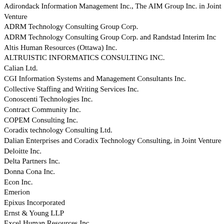Adirondack Information Management Inc., The AIM Group Inc. in Joint Venture
ADRM Technology Consulting Group Corp.
ADRM Technology Consulting Group Corp. and Randstad Interim Inc
Altis Human Resources (Ottawa) Inc.
ALTRUISTIC INFORMATICS CONSULTING INC.
Calian Ltd.
CGI Information Systems and Management Consultants Inc.
Collective Staffing and Writing Services Inc.
Conoscenti Technologies Inc.
Contract Community Inc.
COPEM Consulting Inc.
Coradix technology Consulting Ltd.
Dalian Enterprises and Coradix Technology Consulting, in Joint Venture
Deloitte Inc.
Delta Partners Inc.
Donna Cona Inc.
Econ Inc.
Emerion
Epixus Incorporated
Ernst & Young LLP
Excel Human Resources Inc.
Goss Gilroy Inc.
Gouverne Conseil Richardier CE Inc.